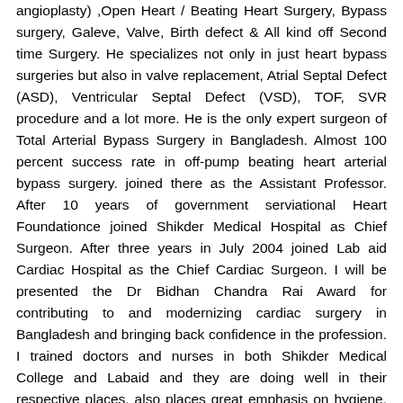angioplasty) ,Open Heart / Beating Heart Surgery, Bypass surgery, Galeve, Valve, Birth defect & All kind off Second time Surgery. He specializes not only in just heart bypass surgeries but also in valve replacement, Atrial Septal Defect (ASD), Ventricular Septal Defect (VSD), TOF, SVR procedure and a lot more. He is the only expert surgeon of Total Arterial Bypass Surgery in Bangladesh. Almost 100 percent success rate in off-pump beating heart arterial bypass surgery. joined there as the Assistant Professor. After 10 years of government serviational Heart Foundationce joined Shikder Medical Hospital as Chief Surgeon. After three years in July 2004 joined Lab aid Cardiac Hospital as the Chief Cardiac Surgeon. I will be presented the Dr Bidhan Chandra Rai Award for contributing to and modernizing cardiac surgery in Bangladesh and bringing back confidence in the profession. I trained doctors and nurses in both Shikder Medical College and Labaid and they are doing well in their respective places. also places great emphasis on hygiene, which, he sadly expresses,